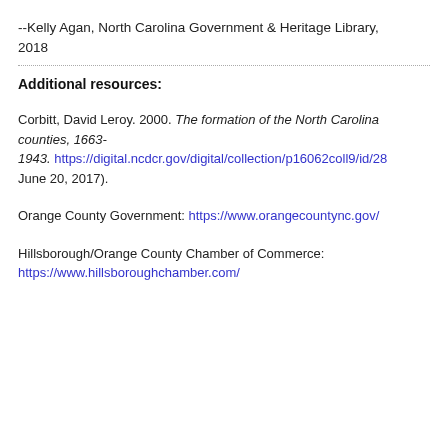--Kelly Agan, North Carolina Government & Heritage Library, 2018
Additional resources:
Corbitt, David Leroy. 2000. The formation of the North Carolina counties, 1663-1943. https://digital.ncdcr.gov/digital/collection/p16062coll9/id/28 (accessed June 20, 2017).
Orange County Government: https://www.orangecountync.gov/
Hillsborough/Orange County Chamber of Commerce: https://www.hillsboroughchamber.com/